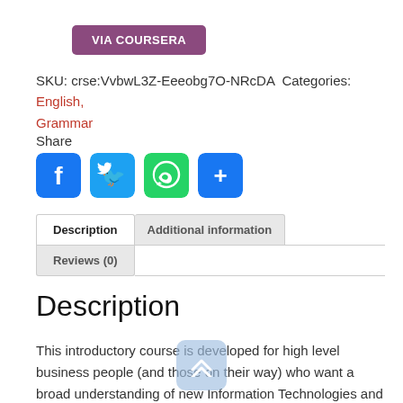VIA COURSERA
SKU: crse:VvbwL3Z-Eeeobg7O-NRcDA Categories: English, Grammar
Share
[Figure (infographic): Social share buttons: Facebook, Twitter, WhatsApp, and a generic share/add button]
Description | Additional information | Reviews (0) tabs
Description
This introductory course is developed for high level business people (and those on their way) who want a broad understanding of new Information Technologies and